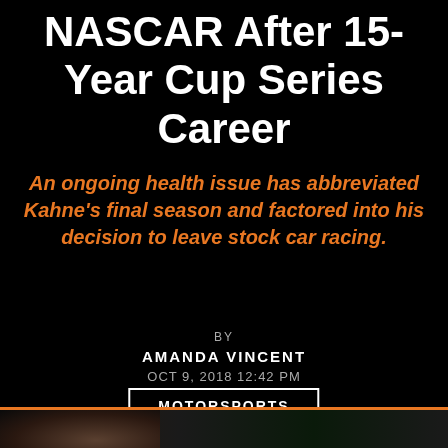NASCAR After 15-Year Cup Series Career
An ongoing health issue has abbreviated Kahne's final season and factored into his decision to leave stock car racing.
BY
AMANDA VINCENT
OCT 9, 2018 12:42 PM
MOTORSPORTS
[Figure (photo): Bottom strip showing partial photo of a person with racing-related background]